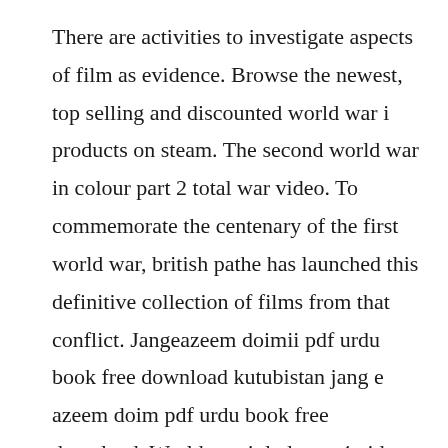There are activities to investigate aspects of film as evidence. Browse the newest, top selling and discounted world war i products on steam. The second world war in colour part 2 total war video. To commemorate the centenary of the first world war, british pathe has launched this definitive collection of films from that conflict. Jangeazeem doimii pdf urdu book free download kutubistan jang e azeem doim pdf urdu book free download. World war i dvds, mp4 video downloads, mpg videos on usb.